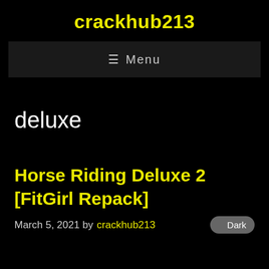crackhub213
≡ Menu
deluxe
Horse Riding Deluxe 2 [FitGirl Repack]
March 5, 2021 by crackhub213